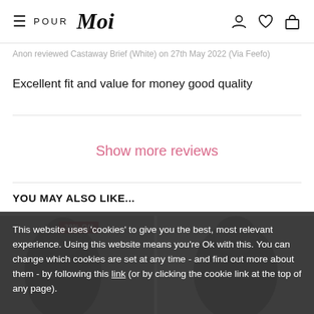Pour Moi – navigation bar with hamburger menu, logo, and icons (account, wishlist, bag)
Anon reviewed Castaway Brief (White) on 27th May 2022 (Via Feefo)
Excellent fit and value for money good quality
Show more reviews
YOU MAY ALSO LIKE...
[Figure (photo): Product photos of swimwear/lingerie models partially visible, with a dark sale badge reading '38% Off']
This website uses 'cookies' to give you the best, most relevant experience. Using this website means you're Ok with this. You can change which cookies are set at any time - and find out more about them - by following this link (or by clicking the cookie link at the top of any page).
OK, I understand